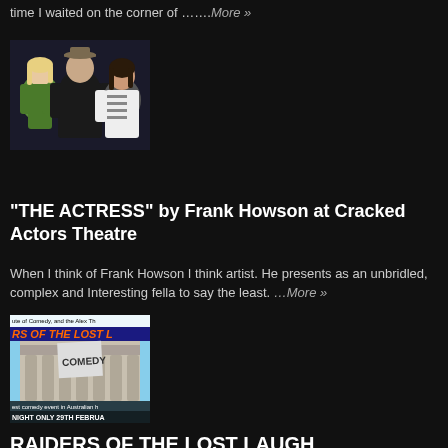time I waited on the corner of …….More »
[Figure (photo): Three people posing together: a woman in green dress, a man in black with hat, and a younger woman in striped shirt]
"THE ACTRESS" by Frank Howson at Cracked Actors Theatre
When I think of Frank Howson I think artist. He presents as an unbridled, complex and Interesting fella to say the least. ...More »
[Figure (photo): Raiders of the Lost Laugh comedy event poster showing a building with COMEDY banner. Text: 'ute of Comedy, and the Alex Th', 'RS OF THE LOST L', 'est comedy event in Australian h', 'NIGHT ONLY 29TH FEBRUA']
RAIDERS OF THE LOST LAUGH